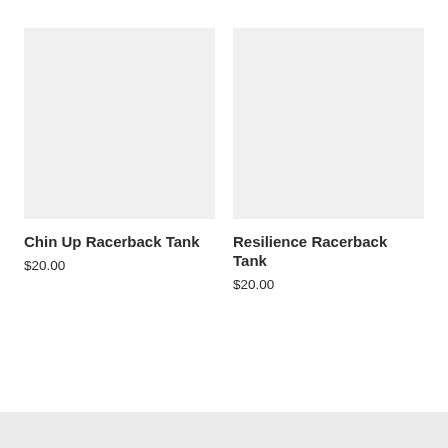[Figure (photo): Product image placeholder — light gray square for Chin Up Racerback Tank]
Chin Up Racerback Tank
$20.00
[Figure (photo): Product image placeholder — light gray square for Resilience Racerback Tank]
Resilience Racerback Tank
$20.00